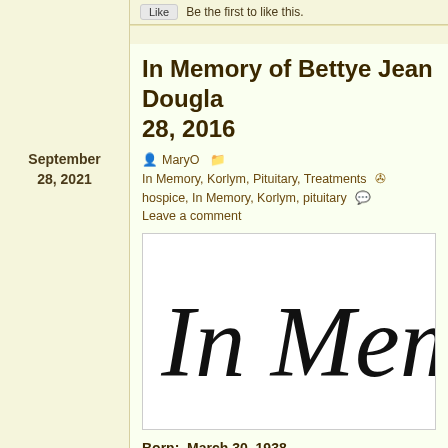Be the first to like this.
In Memory of Bettye Jean Douglas 28, 2016
MaryO  In Memory, Korlym, Pituitary, Treatments  hospice, In Memory, Korlym, pituitary  Leave a comment
[Figure (illustration): Decorative cursive text reading 'In Mem' (In Memory) in large black script on white background]
Born:  March 30, 1938
Passed:  September 28, 2016
September 28, 2021